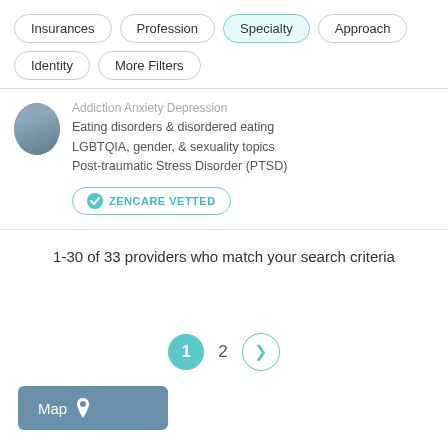Insurances
Profession
Specialty
Approach
Identity
More Filters
Addiction  Anxiety  Depression
Eating disorders & disordered eating
LGBTQIA, gender, & sexuality topics
Post-traumatic Stress Disorder (PTSD)
ZENCARE VETTED
1-30 of 33 providers who match your search criteria
1  2  >
Map